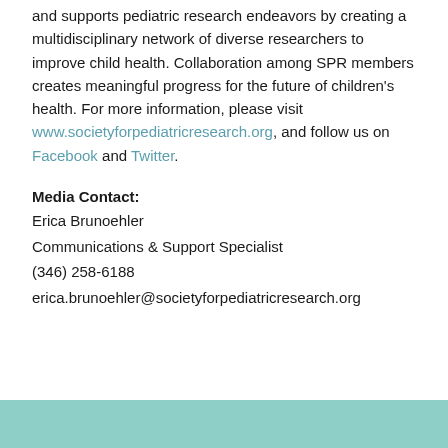and supports pediatric research endeavors by creating a multidisciplinary network of diverse researchers to improve child health. Collaboration among SPR members creates meaningful progress for the future of children's health. For more information, please visit www.societyforpediatricresearch.org, and follow us on Facebook and Twitter.
Media Contact: Erica Brunoehler Communications & Support Specialist (346) 258-6188 erica.brunoehler@societyforpediatricresearch.org